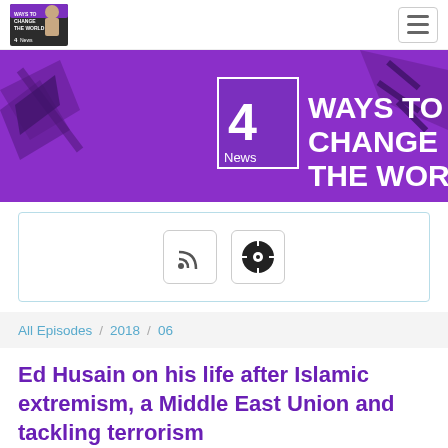[Figure (logo): Ways to Change the World podcast logo with Channel 4 News branding and presenter photo]
[Figure (illustration): Channel 4 News Ways to Change the World banner with purple background and bold white text]
[Figure (other): Subscription icons: RSS feed icon button and podcast/audio platform icon button]
All Episodes / 2018 / 06
Ed Husain on his life after Islamic extremism, a Middle East Union and tackling terrorism